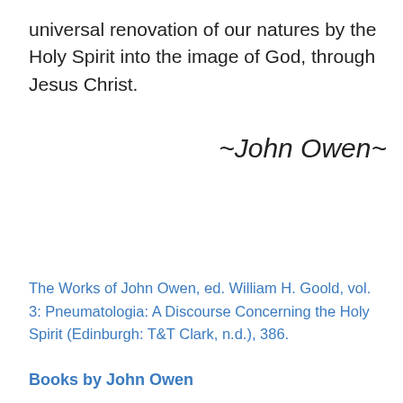universal renovation of our natures by the Holy Spirit into the image of God, through Jesus Christ.
~John Owen~
The Works of John Owen, ed. William H. Goold, vol. 3: Pneumatologia: A Discourse Concerning the Holy Spirit (Edinburgh: T&T Clark, n.d.), 386.
Books by John Owen